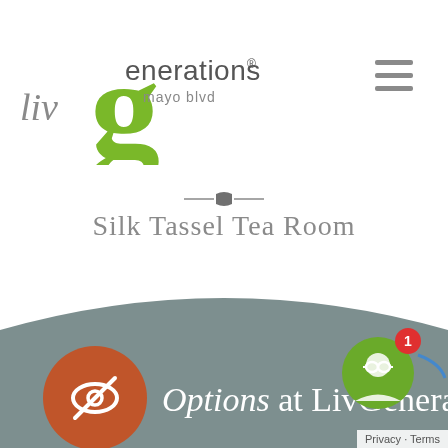[Figure (logo): LivGenerations Mayo Blvd logo with large green stylized 'g' and 'liv' text in gray]
Silk Tassel Tea Room
[Figure (infographic): Gray footer banner with orange circle containing eye-slash icon, text 'Options at LivGenera...' in white, green avatar circle with notification badge showing '1', and Privacy/Terms link]